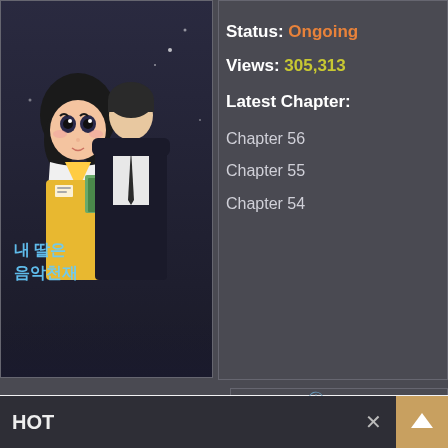[Figure (illustration): Manga cover art showing two characters - a girl with short hair in school uniform and a taller figure in dark clothing, with Korean text overlay reading approximately '내 딸은 음악천재']
Status: Ongoing
Views: 305,313
Latest Chapter:
Chapter 56
Chapter 55
Chapter 54
[Figure (logo): BeeManga app icon - yellow rounded square with bee character logo and BEE MANGA text]
BeeManga - Free ...
4.4 ★ | 1000+ ⬇
FREE
Best Free Webtoon Reader Apps
The Best Manhua Reader App
Google Play
INSTALL
ss of the Glass se
4.6
ing
06
er:
HOT
✕ ∨